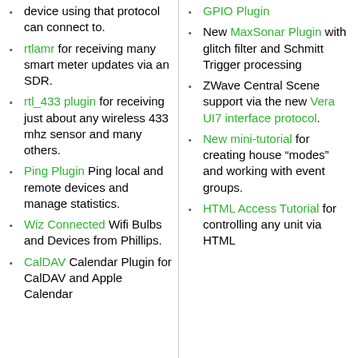device using that protocol can connect to.
rtlamr for receiving many smart meter updates via an SDR.
rtl_433 plugin for receiving just about any wireless 433 mhz sensor and many others.
Ping Plugin Ping local and remote devices and manage statistics.
Wiz Connected Wifi Bulbs and Devices from Phillips.
CalDAV Calendar Plugin for CalDAV and Apple Calendar
GPIO Plugin
New MaxSonar Plugin with glitch filter and Schmitt Trigger processing
ZWave Central Scene support via the new Vera UI7 interface protocol.
New mini-tutorial for creating house “modes” and working with event groups.
HTML Access Tutorial for controlling any unit via HTML